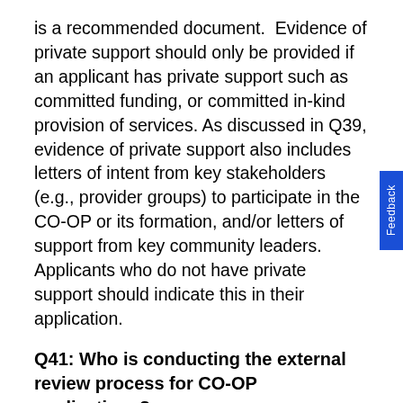is a recommended document.  Evidence of private support should only be provided if an applicant has private support such as committed funding, or committed in-kind provision of services. As discussed in Q39, evidence of private support also includes letters of intent from key stakeholders (e.g., provider groups) to participate in the CO-OP or its formation, and/or letters of support from key community leaders.  Applicants who do not have private support should indicate this in their application.
Q41: Who is conducting the external review process for CO-OP applications?
A41: To assist CMS in awarding CO-OP loans, we have obtained services from Deloitte Consulting, LLP. Deloitte will review qualified loan applications